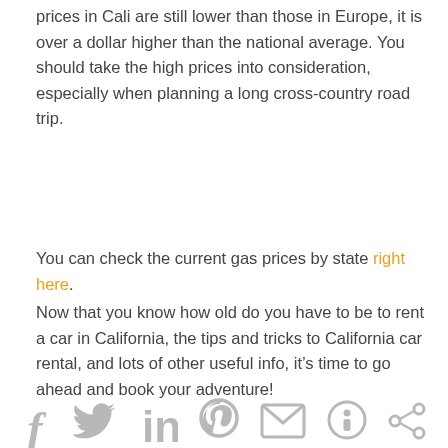prices in Cali are still lower than those in Europe, it is over a dollar higher than the national average. You should take the high prices into consideration, especially when planning a long cross-country road trip.
You can check the current gas prices by state right here.
Now that you know how old do you have to be to rent a car in California, the tips and tricks to California car rental, and lots of other useful info, it’s time to go ahead and book your adventure!
[Figure (other): Social media share icons: Facebook, Twitter, LinkedIn, Pinterest, Email, other, share]